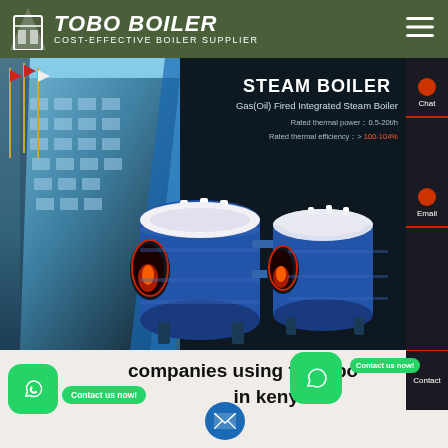TOBO BOILER — COST-EFFECTIVE BOILER SUPPLIER
[Figure (screenshot): Website screenshot showing a steam boiler product page. Dark navy hero section with industrial building/flagpole image on the left, two cylindrical gas-fired integrated steam boilers in the center. Text overlay reads 'STEAM BOILER', 'Gas(Oil) Fired Integrated Steam Boiler', with specs: Rated thermal power: 0.5-20t/h, Rated thermal efficiency: >100-104%. Right sidebar with Chat and Email options.]
companies using fired boilers in kenya
Contact us now!
Contact us now!
Hey, we are live 24/7. How may I help you?
Send Message
Inquiry Online